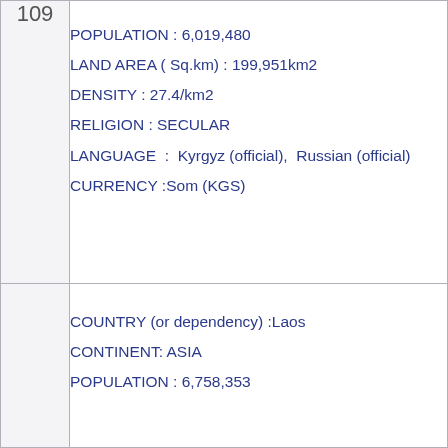| 109 | POPULATION : 6,019,480
LAND AREA ( Sq.km) : 199,951km2
DENSITY : 27.4/km2
RELIGION : SECULAR
LANGUAGE : Kyrgyz (official), Russian (official)
CURRENCY :Som (KGS) |
|  | COUNTRY (or dependency) :Laos
CONTINENT: ASIA
POPULATION : 6,758,353 |